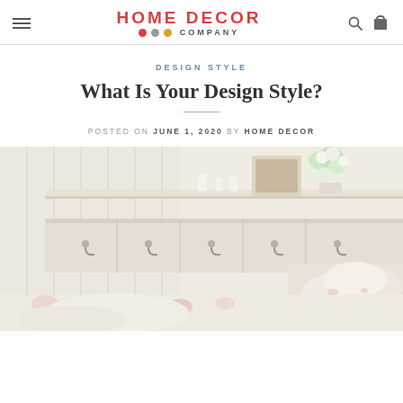HOME DECOR COMPANY
DESIGN STYLE
What Is Your Design Style?
POSTED ON JUNE 1, 2020 BY HOME DECOR
[Figure (photo): A shabby chic bedroom with cream/white wooden wall paneling and a shelf unit with hooks. The shelf displays a floral picture frame, white flower bouquet, and candles. Below is a bed with floral pillowcases and ruffled pillows in soft pink and cream tones.]